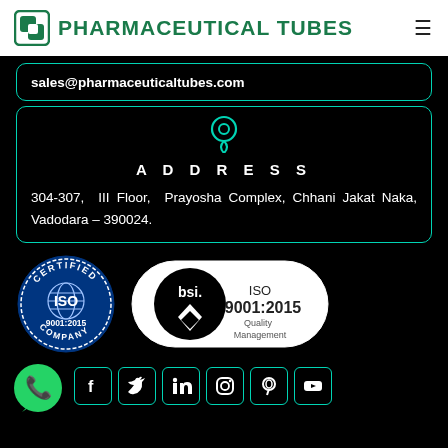PHARMACEUTICAL TUBES
sales@pharmaceuticaltubes.com
ADDRESS
304-307, III Floor, Prayosha Complex, Chhani Jakat Naka, Vadodara – 390024.
[Figure (logo): ISO 9001:2015 Certified Company circular badge logo and BSI ISO 9001:2015 Quality Management pill-shaped badge]
[Figure (logo): WhatsApp green phone icon and social media icons: Facebook, Twitter, LinkedIn, Instagram, Pinterest, YouTube in teal-bordered squares]